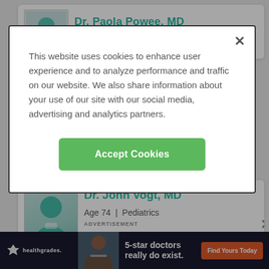[Figure (screenshot): Background doctor listing page showing top of Dr. Paola Powee MD card and Dr. John Vogt MD card below, partially visible behind modal overlay]
This website uses cookies to enhance user experience and to analyze performance and traffic on our website. We also share information about your use of our site with our social media, advertising and analytics partners.
Accept Cookies
Dr. John Vogt, MD
Age 74 | Pediatrics
ADVERTISEMENT
5-star doctors really do exist.
Find Yours Today